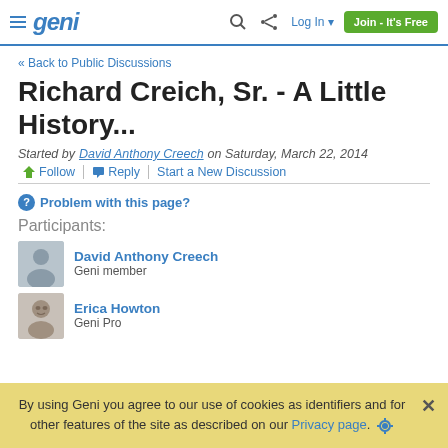Geni — Log In | Join - It's Free
« Back to Public Discussions
Richard Creich, Sr. - A Little History...
Started by David Anthony Creech on Saturday, March 22, 2014
Follow | Reply | Start a New Discussion
Problem with this page?
Participants:
David Anthony Creech
Geni member
Erica Howton
Geni Pro
By using Geni you agree to our use of cookies as identifiers and for other features of the site as described on our Privacy page.